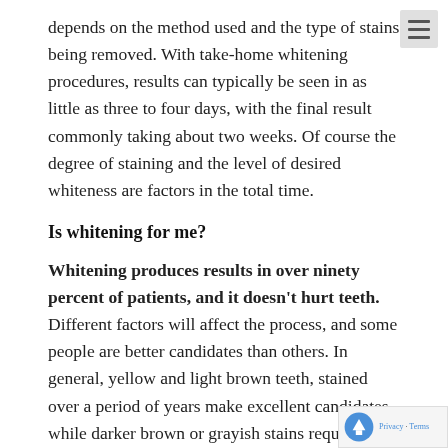depends on the method used and the type of stains being removed. With take-home whitening procedures, results can typically be seen in as little as three to four days, with the final result commonly taking about two weeks. Of course the degree of staining and the level of desired whiteness are factors in the total time.
Is whitening for me?
Whitening produces results in over ninety percent of patients, and it doesn't hurt teeth. Different factors will affect the process, and some people are better candidates than others. In general, yellow and light brown teeth, stained over a period of years make excellent candidates, while darker brown or grayish stains require special techniques. Whitening will not lighten artificia...